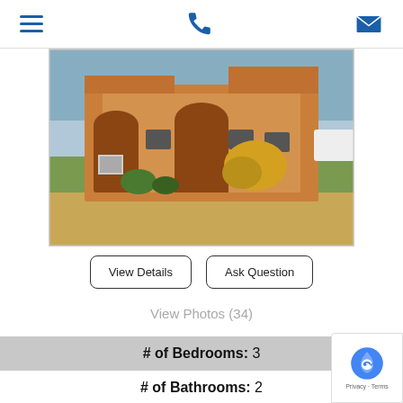Navigation bar with hamburger menu, phone icon, and email icon
[Figure (photo): Exterior photo of a single-story tan/beige stucco house with arched doorways, brown shutters, yellow flowering bush in front yard, dry grass lawn, and blue sky]
View Details
Ask Question
View Photos (34)
# of Bedrooms: 3
# of Bathrooms: 2